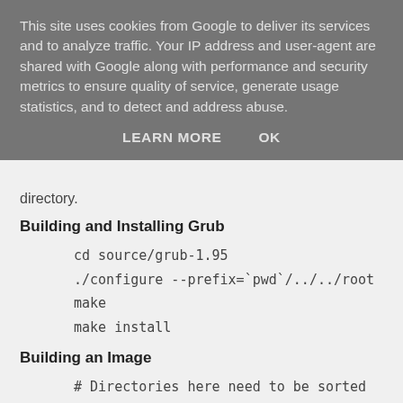This site uses cookies from Google to deliver its services and to analyze traffic. Your IP address and user-agent are shared with Google along with performance and security metrics to ensure quality of service, generate usage statistics, and to detect and address abuse.
LEARN MORE   OK
directory.
Building and Installing Grub
cd source/grub-1.95
./configure --prefix=`pwd`/../../root
make
make install
Building an Image
# Directories here need to be sorted out